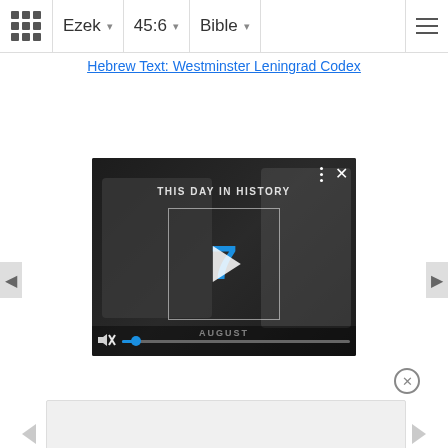Ezek  45:6  Bible
Hebrew Text: Westminster Leningrad Codex
[Figure (screenshot): Video player showing 'This Day In History' with the number 7 and the word AUGUST, with a blue progress dot near the start, mute icon, three-dot menu, and close X button. Dark background with silhouetted figures.]
[Figure (screenshot): Bottom advertisement rectangle placeholder, partially visible, with a circle-X close button above it.]